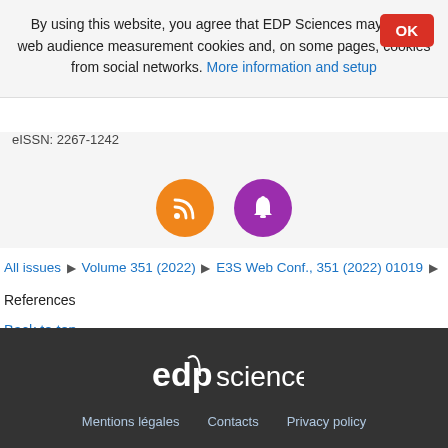By using this website, you agree that EDP Sciences may store web audience measurement cookies and, on some pages, cookies from social networks. More information and setup
eISSN: 2267-1242
[Figure (illustration): Two circular icon buttons: an orange RSS feed icon and a purple notification bell icon]
All issues ▶ Volume 351 (2022) ▶ E3S Web Conf., 351 (2022) 01019 ▶
References
Back to top
[Figure (logo): EDP Sciences logo in white on dark background]
Mentions légales   Contacts   Privacy policy